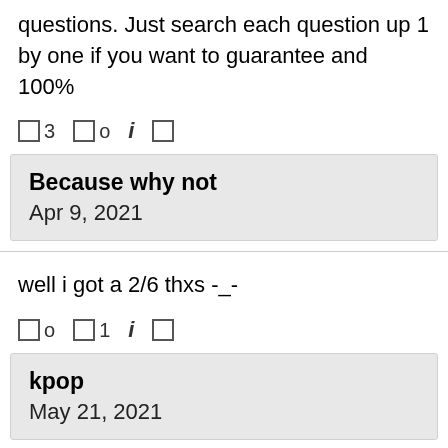questions. Just search each question up 1 by one if you want to guarantee and 100%
🔼3  🔽0  i  🔖
Because why not
Apr 9, 2021
well i got a 2/6 thxs -_-
🔼0  🔽1  i  🔖
kpop
May 21, 2021
you guys are so wrong here you poor children